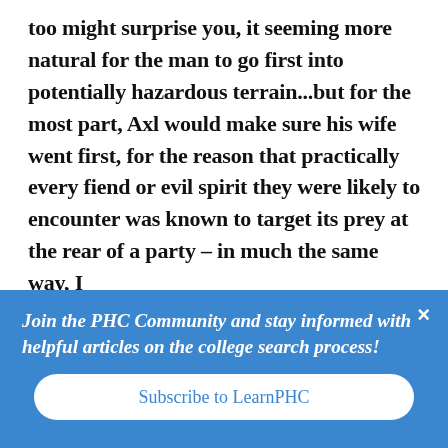too might surprise you, it seeming more natural for the man to go first into potentially hazardous terrain...but for the most part, Axl would make sure his wife went first, for the reason that practically every fiend or evil spirit they were likely to encounter was known to target its prey at the rear of a party – in much the same way, I
Join the PHC Community and stay informed with helpful articles on the college search process!
Subscribe to LearnPHC